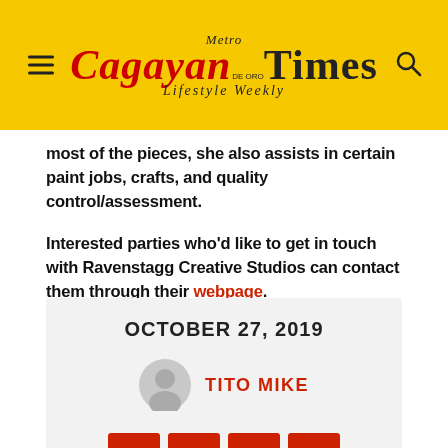Metro Cagayan de Oro Times – Lifestyle Weekly
most of the pieces, she also assists in certain paint jobs, crafts, and quality control/assessment.
Interested parties who'd like to get in touch with Ravenstagg Creative Studios can contact them through their webpage.
OCTOBER 27, 2019
TITO MIKE